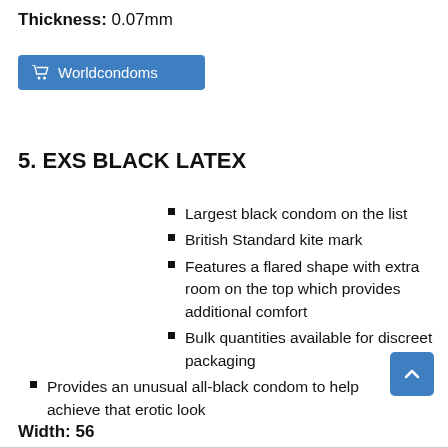Thickness: 0.07mm
[Figure (other): Blue button labeled with cart icon and 'Worldcondoms']
5. EXS BLACK LATEX
Largest black condom on the list
British Standard kite mark
Features a flared shape with extra room on the top which provides additional comfort
Bulk quantities available for discreet packaging
Provides an unusual all-black condom to help achieve that erotic look
Width: 56